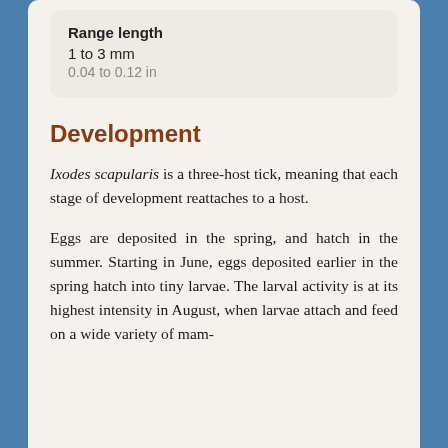| Range length |
| --- |
| 1 to 3 mm |
| 0.04 to 0.12 in |
Development
Ixodes scapularis is a three-host tick, meaning that each stage of development reattaches to a host.
Eggs are deposited in the spring, and hatch in the summer. Starting in June, eggs deposited earlier in the spring hatch into tiny larvae. The larval activity is at its highest intensity in August, when larvae attach and feed on a wide variety of mam-